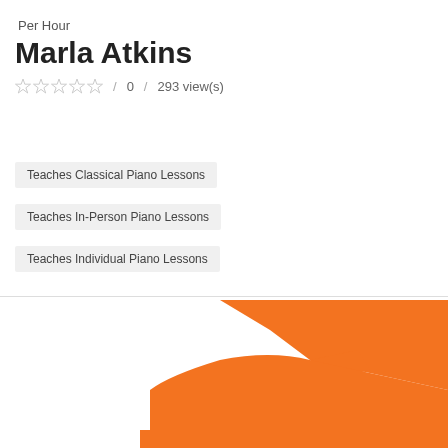Per Hour
Marla Atkins
☆ ☆ ☆ ☆ ☆ / 0 / 293 view(s)
Teaches Classical Piano Lessons
Teaches In-Person Piano Lessons
Teaches Individual Piano Lessons
[Figure (illustration): Orange silhouette of a grand piano, partially cropped at bottom of page]